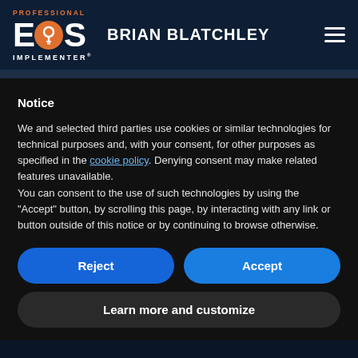[Figure (logo): Professional EOS Implementer logo with orange circle containing a lightbulb icon, white EOS text, and BRIAN BLATCHLEY header name]
Notice
We and selected third parties use cookies or similar technologies for technical purposes and, with your consent, for other purposes as specified in the cookie policy. Denying consent may make related features unavailable.
You can consent to the use of such technologies by using the “Accept” button, by scrolling this page, by interacting with any link or button outside of this notice or by continuing to browse otherwise.
Reject
Accept
Learn more and customize